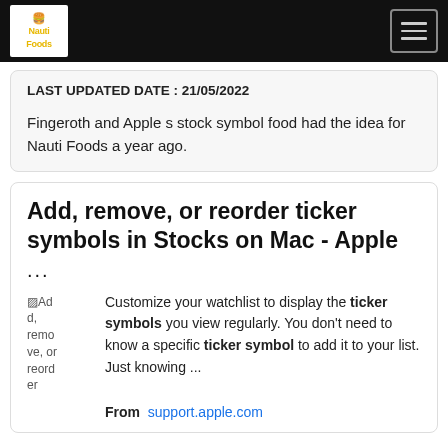Nauti Foods logo | Navigation menu
LAST UPDATED DATE : 21/05/2022
Fingeroth and Apple s stock symbol food had the idea for Nauti Foods a year ago.
Add, remove, or reorder ticker symbols in Stocks on Mac - Apple
...
[Figure (other): Broken image placeholder showing alt text: Add, remove, or reorder]
Customize your watchlist to display the ticker symbols you view regularly. You don't need to know a specific ticker symbol to add it to your list. Just knowing ...
From support.apple.com